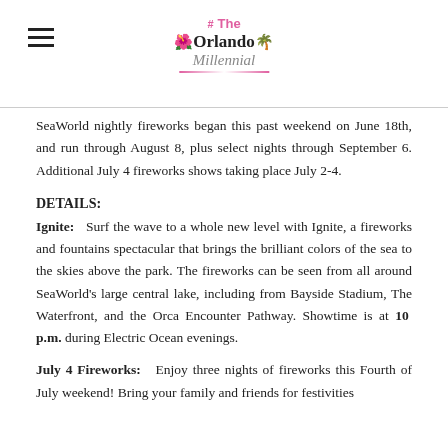# The Orlando Millennial
SeaWorld nightly fireworks began this past weekend on June 18th, and run through August 8, plus select nights through September 6. Additional July 4 fireworks shows taking place July 2-4.
DETAILS:
Ignite:   Surf the wave to a whole new level with Ignite, a fireworks and fountains spectacular that brings the brilliant colors of the sea to the skies above the park. The fireworks can be seen from all around SeaWorld's large central lake, including from Bayside Stadium, The Waterfront, and the Orca Encounter Pathway. Showtime is at 10 p.m. during Electric Ocean evenings.
July 4 Fireworks:   Enjoy three nights of fireworks this Fourth of July weekend! Bring your family and friends for festivities